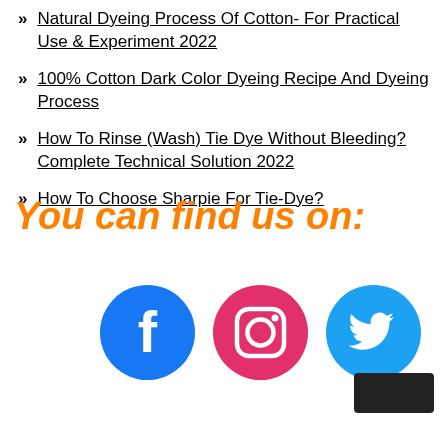Natural Dyeing Process Of Cotton- For Practical Use & Experiment 2022
100% Cotton Dark Color Dyeing Recipe And Dyeing Process
How To Rinse (Wash) Tie Dye Without Bleeding? Complete Technical Solution 2022
How To Choose Sharpie For Tie-Dye?
You can find us on:
[Figure (illustration): Three social media icons in circles: Facebook (blue), Instagram (pink/magenta), Twitter (light blue), plus a dark rectangular logo in bottom right]